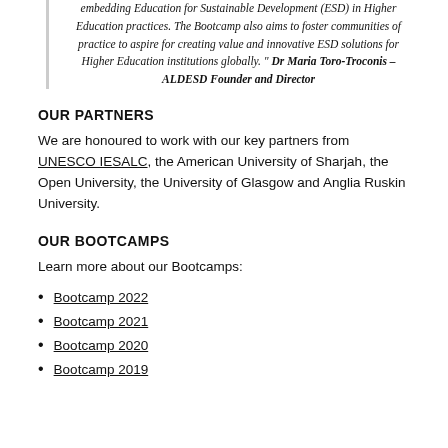embedding Education for Sustainable Development (ESD) in Higher Education practices. The Bootcamp also aims to foster communities of practice to aspire for creating value and innovative ESD solutions for Higher Education institutions globally." Dr Maria Toro-Troconis – ALDESD Founder and Director
OUR PARTNERS
We are honoured to work with our key partners from UNESCO IESALC, the American University of Sharjah, the Open University, the University of Glasgow and Anglia Ruskin University.
OUR BOOTCAMPS
Learn more about our Bootcamps:
Bootcamp 2022
Bootcamp 2021
Bootcamp 2020
Bootcamp 2019